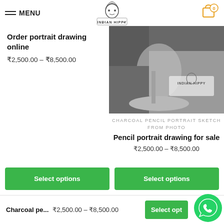[Figure (logo): Indian Hippy logo with turbaned skull illustration and text 'INDIAN HIPPY']
≡ MENU
[Figure (other): Shopping cart icon with 0 badge (orange outline)]
Order portrait drawing online
₹2,500.00 – ₹8,500.00
[Figure (photo): Charcoal pencil portrait sketch showing a person in dark tones with Indian Hippy watermark]
CHARCOAL PENCIL PORTRAIT SKETCH FROM PHOTO
Pencil portrait drawing for sale
₹2,500.00 – ₹8,500.00
Select options
Select options
Charcoal pe...
₹2,500.00 – ₹8,500.00
Select opt